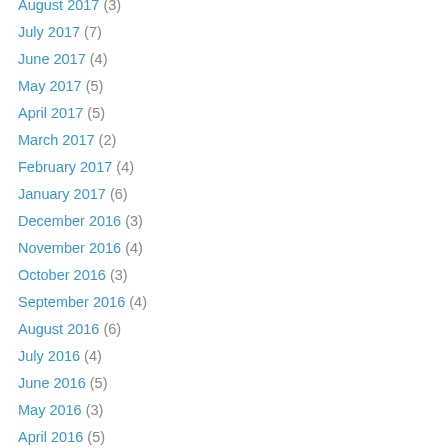August 2017 (3)
July 2017 (7)
June 2017 (4)
May 2017 (5)
April 2017 (5)
March 2017 (2)
February 2017 (4)
January 2017 (6)
December 2016 (3)
November 2016 (4)
October 2016 (3)
September 2016 (4)
August 2016 (6)
July 2016 (4)
June 2016 (5)
May 2016 (3)
April 2016 (5)
March 2016 (5)
February 2016 (4)